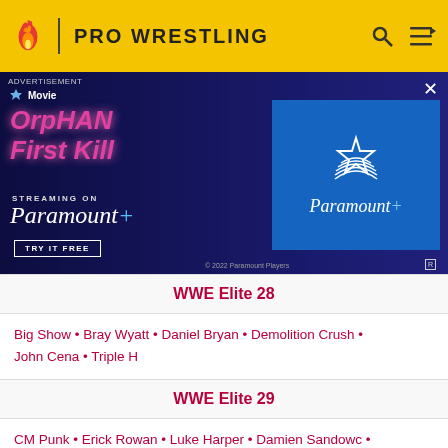PRO WRESTLING
[Figure (photo): Advertisement banner for Orphan: First Kill streaming on Paramount+. Shows movie poster with character, pink stylized text 'Orphan First Kill', 'Streaming on Paramount+', 'TRY IT FREE' button, and Paramount+ logo on right blue box.]
WWE Elite 28
Big Show • Bray Wyatt • Daniel Bryan • Demolition Crush • John Cena • Triple H
WWE Elite 29
CM Punk • Erick Rowan • Luke Harper • Damien Sandowc • Goldust • Andre the Giant
WWE Elite 30